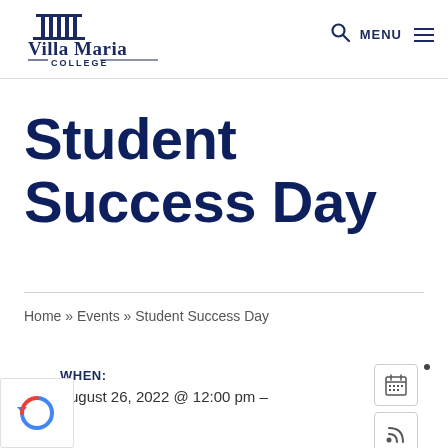Villa Maria College — MENU
Student Success Day
Home » Events » Student Success Day
WHEN:
August 26, 2022 @ 12:00 pm –